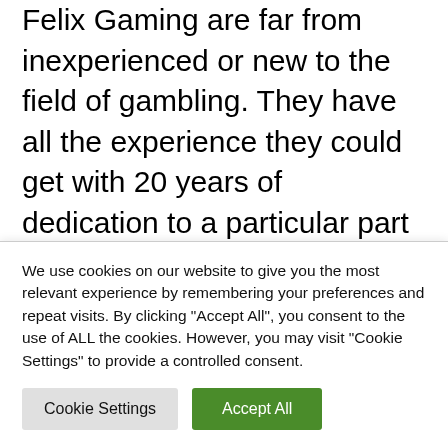Felix Gaming are far from inexperienced or new to the field of gambling. They have all the experience they could get with 20 years of dedication to a particular part of the gambling industry. But the fact remains that they've only recently decided to focus their efforts on online gamling.
The number of partnerships that Felix Gaming
We use cookies on our website to give you the most relevant experience by remembering your preferences and repeat visits. By clicking "Accept All", you consent to the use of ALL the cookies. However, you may visit "Cookie Settings" to provide a controlled consent.